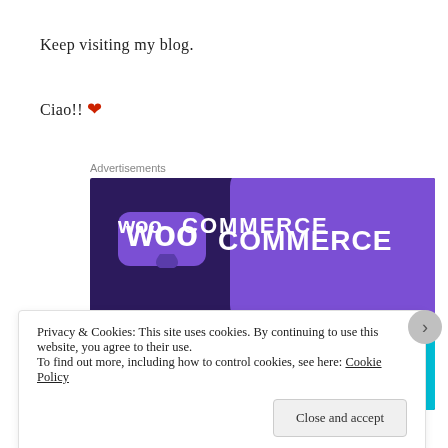Keep visiting my blog.
Ciao!! ❤
Advertisements
[Figure (illustration): WooCommerce advertisement banner showing the WooCommerce logo and text 'Turn your hobby into a business in 8 steps' on a dark purple background with green and teal geometric shapes.]
Privacy & Cookies: This site uses cookies. By continuing to use this website, you agree to their use.
To find out more, including how to control cookies, see here: Cookie Policy
Close and accept